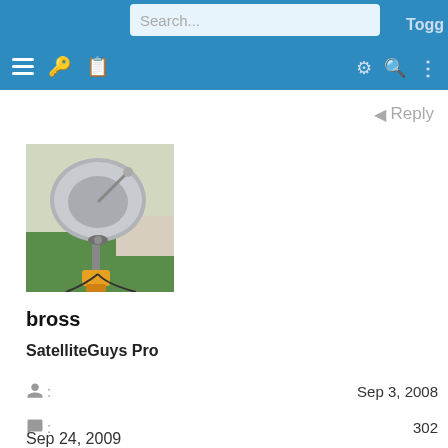Navigation bar with search, menu, key, clipboard icons, settings, search, Toggle
Reply
[Figure (photo): Satellite dish mounted on a pole in grass, with yellow/orange base, cables visible]
bross
SatelliteGuys Pro
Sep 3, 2008
302
0
New Jersey
Sep 24, 2009